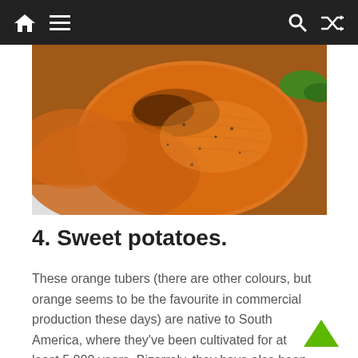Navigation bar with home, menu, search, and shuffle icons
[Figure (photo): Close-up photo of baked orange sweet potato slices in a white bowl, with herbs/seasoning visible on the surface]
4. Sweet potatoes.
These orange tubers (there are other colours, but orange seems to be the favourite in commercial production these days) are native to South America, where they've been cultivated for at least 5,000 years. Bizarrely, they have also been cultivated in Polynesia for at least 1,000 years, evidence of the